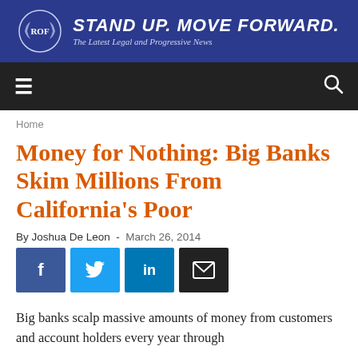[Figure (logo): ROF website header banner with logo, tagline STAND UP. MOVE FORWARD., and subtitle The Latest Legal and Progressive News on blue background]
☰   🔍
Home
Money for Nothing: Big Banks Skim Millions From California's Poor
By Joshua De Leon  -  March 26, 2014
[Figure (infographic): Social share buttons: Facebook, Twitter, LinkedIn, Email]
Big banks scalp massive amounts of money from customers and account holders every year through